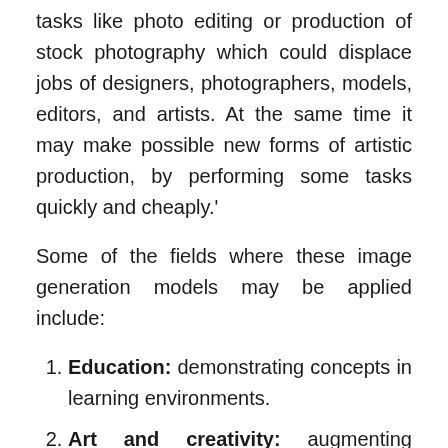tasks like photo editing or production of stock photography which could displace jobs of designers, photographers, models, editors, and artists. At the same time it may make possible new forms of artistic production, by performing some tasks quickly and cheaply.'
Some of the fields where these image generation models may be applied include:
Education: demonstrating concepts in learning environments.
Art and creativity: augmenting human imagination and design, especially in pre-production and brainstorming